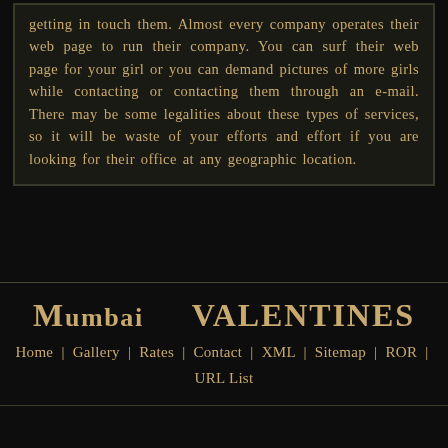getting in touch them. Almost every company operates their web page to run their company. You can surf their web page for your girl or you can demand pictures of more girls while contacting or contacting them through an e-mail. There may be some legalities about these types of services, so it will be waste of your efforts and effort if you are looking for their office at any geographic location.
Mumbai Valentines | Home | Gallery | Rates | Contact | XML | Sitemap | ROR | URL List